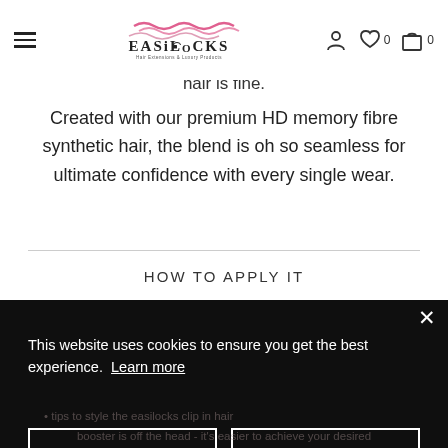Easilocks — Hair Extensions & Luxury Products navigation header
hair is fine.
Created with our premium HD memory fibre synthetic hair, the blend is oh so seamless for ultimate confidence with every single wear.
HOW TO APPLY IT
This website uses cookies to ensure you get the best experience.  Learn more
Decline  Accept
booster is off the head - it's easier to achieve your desired